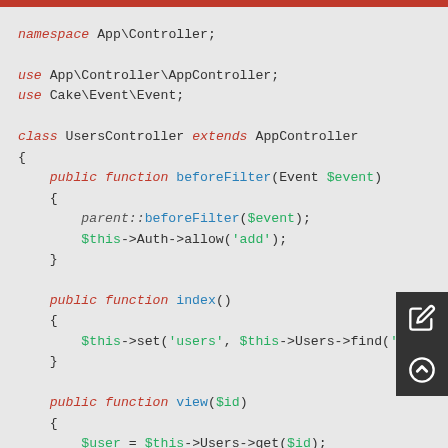Code listing: UsersController PHP class with namespace, use statements, and public functions beforeFilter, index, view, add